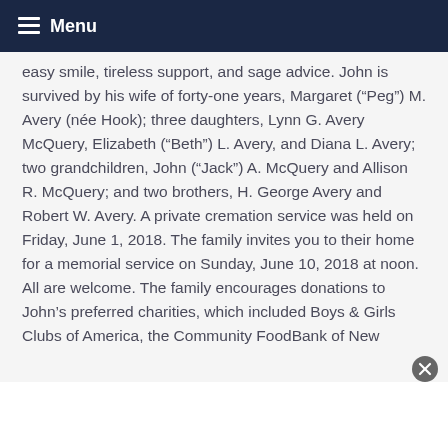Menu
easy smile, tireless support, and sage advice. John is survived by his wife of forty-one years, Margaret (“Peg”) M. Avery (née Hook); three daughters, Lynn G. Avery McQuery, Elizabeth (“Beth”) L. Avery, and Diana L. Avery; two grandchildren, John (“Jack”) A. McQuery and Allison R. McQuery; and two brothers, H. George Avery and Robert W. Avery. A private cremation service was held on Friday, June 1, 2018. The family invites you to their home for a memorial service on Sunday, June 10, 2018 at noon. All are welcome. The family encourages donations to John’s preferred charities, which included Boys & Girls Clubs of America, the Community FoodBank of New